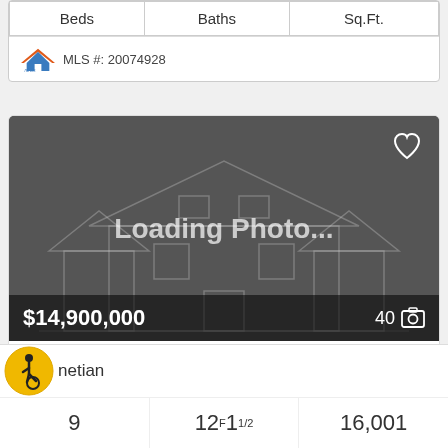| Beds | Baths | Sq.Ft. |
| --- | --- | --- |
MLS #: 20074928
[Figure (photo): Loading Photo placeholder with ghost house illustration. Shows '$14,900,000' price and '40' photo count.]
9520 Hathaway Street
DALLAS, TX 75220
netian
| Beds | Baths | Sq.Ft. |
| --- | --- | --- |
| 9 | 12F 11/2 | 16,001 |